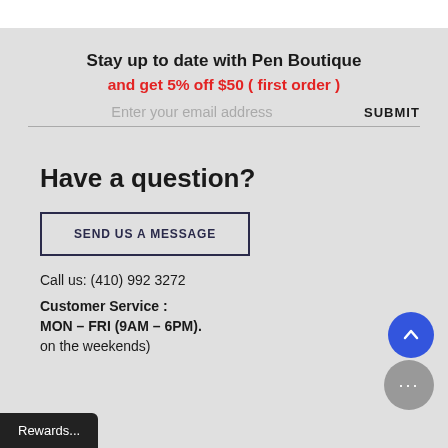Stay up to date with Pen Boutique
and get 5% off $50 ( first order )
Enter your email address   SUBMIT
Have a question?
SEND US A MESSAGE
Call us: (410) 992 3272
Customer Service :
MON – FRI (9AM – 6PM).
on the weekends)
Rewards...